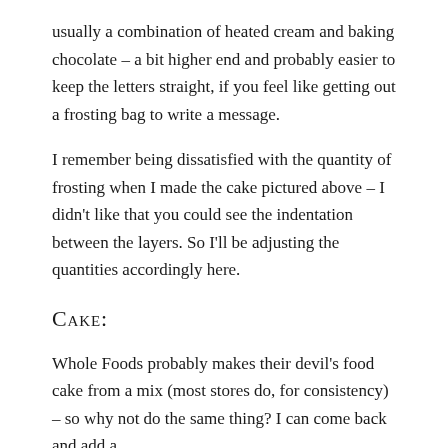usually a combination of heated cream and baking chocolate – a bit higher end and probably easier to keep the letters straight, if you feel like getting out a frosting bag to write a message.
I remember being dissatisfied with the quantity of frosting when I made the cake pictured above – I didn't like that you could see the indentation between the layers. So I'll be adjusting the quantities accordingly here.
Cake:
Whole Foods probably makes their devil's food cake from a mix (most stores do, for consistency) – so why not do the same thing? I can come back and add a